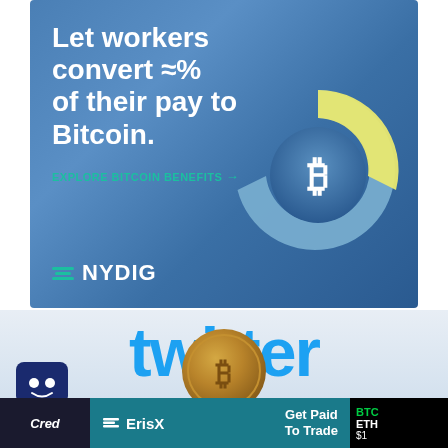[Figure (infographic): NYDIG advertisement with blue gradient background. Text reads 'Let workers convert ≈% of their pay to Bitcoin.' with a call to action 'EXPLORE BITCOIN BENEFITS' and a donut chart showing a Bitcoin symbol in the center with yellow and blue segments. NYDIG logo at bottom left.]
[Figure (infographic): Twitter logo in blue text on light blue/gray gradient background with a gold Bitcoin coin image in the lower center area.]
[Figure (infographic): Bottom composite area showing: a chatbot icon on left, ErisX banner with 'Get Paid To Trade' in teal, credit text on far left, and a stock ticker display on far right showing BTC/ETH.]